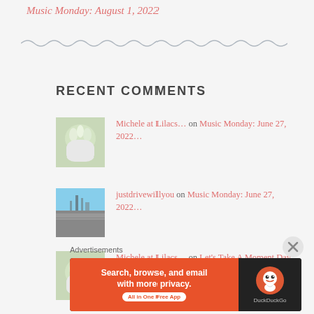Music Monday: August 1, 2022
[Figure (other): Wavy decorative divider line]
RECENT COMMENTS
Michele at Lilacs… on Music Monday: June 27, 2022…
justdrivewillyou on Music Monday: June 27, 2022…
Michele at Lilacs… on Let's Take A Moment Day…
Advertisements
[Figure (infographic): DuckDuckGo advertisement banner: Search, browse, and email with more privacy. All in One Free App]